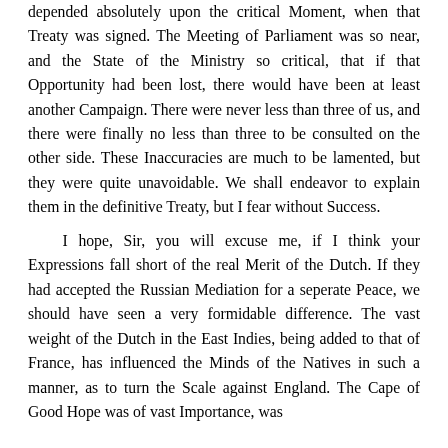depended absolutely upon the critical Moment, when that Treaty was signed. The Meeting of Parliament was so near, and the State of the Ministry so critical, that if that Opportunity had been lost, there would have been at least another Campaign. There were never less than three of us, and there were finally no less than three to be consulted on the other side. These Inaccuracies are much to be lamented, but they were quite unavoidable. We shall endeavor to explain them in the definitive Treaty, but I fear without Success.

I hope, Sir, you will excuse me, if I think your Expressions fall short of the real Merit of the Dutch. If they had accepted the Russian Mediation for a seperate Peace, we should have seen a very formidable difference. The vast weight of the Dutch in the East Indies, being added to that of France, has influenced the Minds of the Natives in such a manner, as to turn the Scale against England. The Cape of Good Hope was of vast Importance, was